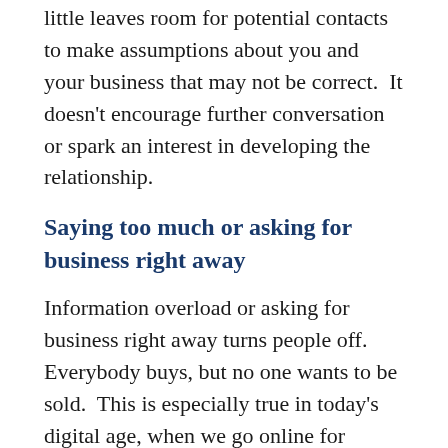little leaves room for potential contacts to make assumptions about you and your business that may not be correct.  It doesn't encourage further conversation or spark an interest in developing the relationship.
Saying too much or asking for business right away
Information overload or asking for business right away turns people off. Everybody buys, but no one wants to be sold.  This is especially true in today's digital age, when we go online for information all the time. It is equally true in a networking event, where your goal is to be memorable and build relationships. You only have a few seconds to capture someone's attention